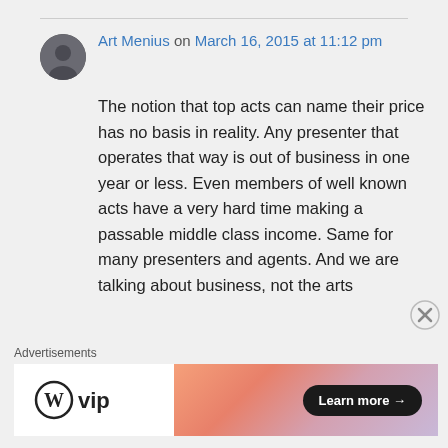Art Menius on March 16, 2015 at 11:12 pm
The notion that top acts can name their price has no basis in reality. Any presenter that operates that way is out of business in one year or less. Even members of well known acts have a very hard time making a passable middle class income. Same for many presenters and agents. And we are talking about business, not the arts
Advertisements
[Figure (logo): WordPress VIP logo with circular W icon and 'vip' text]
[Figure (illustration): Advertisement banner with gradient orange/pink background and 'Learn more →' button]